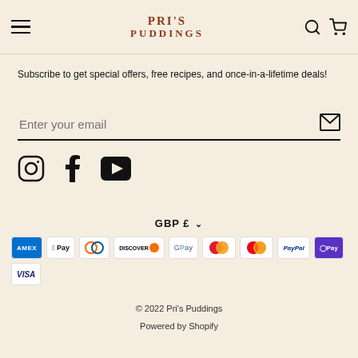Pri's Puddings
Subscribe to get special offers, free recipes, and once-in-a-lifetime deals!
Enter your email
[Figure (infographic): Social media icons: Instagram, Facebook, YouTube]
GBP £
[Figure (infographic): Payment method badges: American Express, Apple Pay, Diners Club, Discover, Google Pay, Maestro, Mastercard, PayPal, Shop Pay, Visa]
© 2022 Pri's Puddings
Powered by Shopify